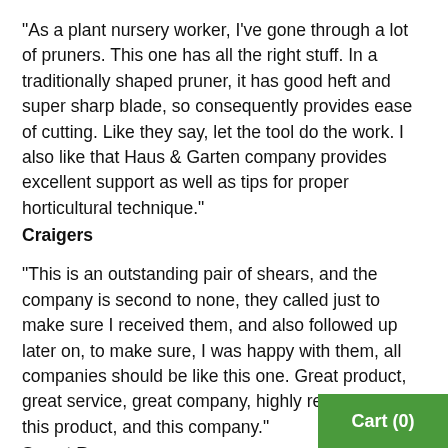"As a plant nursery worker, I've gone through a lot of pruners. This one has all the right stuff. In a traditionally shaped pruner, it has good heft and super sharp blade, so consequently provides ease of cutting. Like they say, let the tool do the work. I also like that Haus & Garten company provides excellent support as well as tips for proper horticultural technique."
Craigers
"This is an outstanding pair of shears, and the company is second to none, they called just to make sure I received them, and also followed up later on, to make sure, I was happy with them, all companies should be like this one. Great product, great service, great company, highly recommend this product, and this company."
Smart Buyer
"If you are a gardener you know how many pairs
Cart (0)